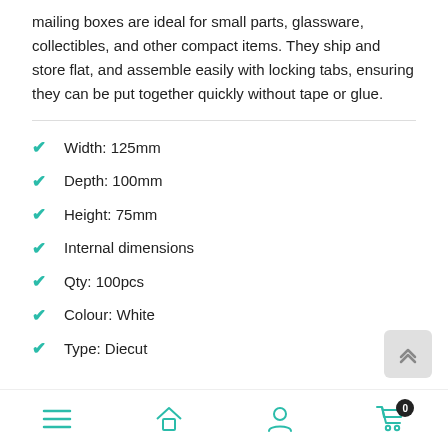mailing boxes are ideal for small parts, glassware, collectibles, and other compact items. They ship and store flat, and assemble easily with locking tabs, ensuring they can be put together quickly without tape or glue.
Width: 125mm
Depth: 100mm
Height: 75mm
Internal dimensions
Qty: 100pcs
Colour: White
Type: Diecut